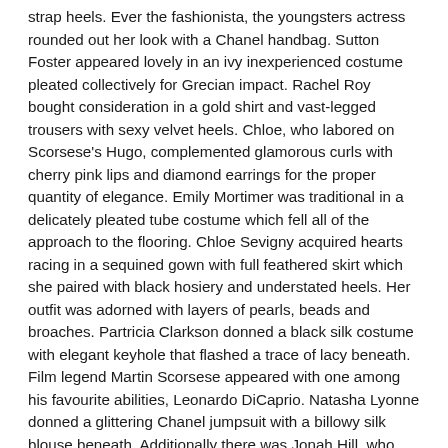strap heels. Ever the fashionista, the youngsters actress rounded out her look with a Chanel handbag. Sutton Foster appeared lovely in an ivy inexperienced costume pleated collectively for Grecian impact. Rachel Roy bought consideration in a gold shirt and vast-legged trousers with sexy velvet heels. Chloe, who labored on Scorsese's Hugo, complemented glamorous curls with cherry pink lips and diamond earrings for the proper quantity of elegance. Emily Mortimer was traditional in a delicately pleated tube costume which fell all of the approach to the flooring. Chloe Sevigny acquired hearts racing in a sequined gown with full feathered skirt which she paired with black hosiery and understated heels. Her outfit was adorned with layers of pearls, beads and broaches. Partricia Clarkson donned a black silk costume with elegant keyhole that flashed a trace of lacy beneath. Film legend Martin Scorsese appeared with one among his favourite abilities, Leonardo DiCaprio. Natasha Lyonne donned a glittering Chanel jumpsuit with a billowy silk blouse beneath. Additionally there was Jonah Hill, who labored with Scorsese on The Wolf of Wall Avenue. Cristin Milioti was timeless in a princess-like navy costume with purple embellishments. Additionally on the affair was star Drew Barrymore, who was fashionable in a shimmering botanical print jacket atop a sparkling striped costume. Si desean obtener mas información respecto a centralita virtual Each males regarded dapper of their fits. The If I Keep actress, 21, donned a double breasted jacket with out a shirt beneath for a flirtatious contact. Chloe Grace Moretz oozed pure Hollywood elegance at the brand new York occasion,